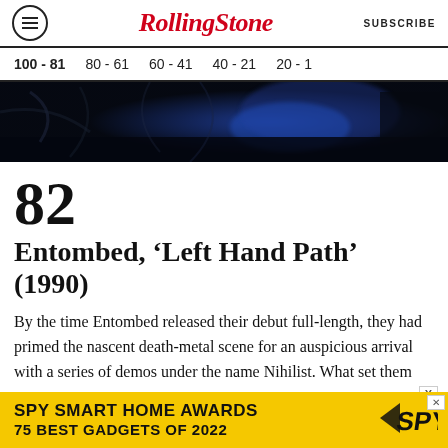RollingStone  SUBSCRIBE
100 - 81  80 - 61  60 - 41  40 - 21  20 - 1
[Figure (photo): Dark atmospheric album art with figures and blue lighting, resembling death metal imagery]
82 Entombed, ‘Left Hand Path’ (1990)
By the time Entombed released their debut full-length, they had primed the nascent death-metal scene for an auspicious arrival with a series of demos under the name Nihilist. What set them
[Figure (infographic): SPY Smart Home Awards advertisement banner: SPY SMART HOME AWARDS 75 BEST GADGETS OF 2022 on yellow background with SPY logo]